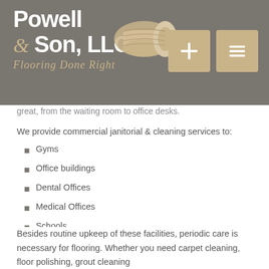[Figure (logo): Powell & Son, LLC logo with tagline 'Flooring Done Right' and carpet roll icon on grey background with navigation buttons]
great, from the waiting room to office desks.
We provide commercial janitorial & cleaning services to:
Gyms
Office buildings
Dental Offices
Medical Offices
Schools
Retail Shops
Warehouse Offices
Besides routine upkeep of these facilities, periodic care is necessary for flooring. Whether you need carpet cleaning, floor polishing, grout cleaning